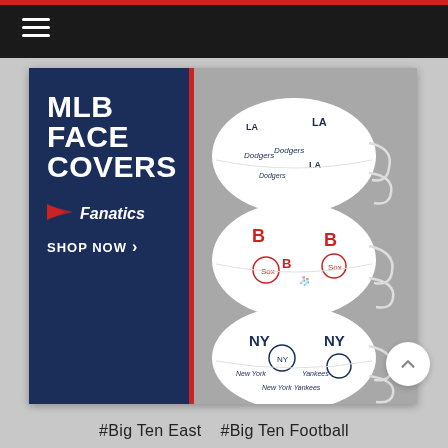[Figure (screenshot): Mobile website screenshot showing a dark navigation bar with hamburger menu icon at top, an MLB Face Covers advertisement banner from Fanatics showing three face masks (LA Dodgers, Boston Red Sox, New York Yankees patterns), and hashtag text at the bottom reading '#Big Ten East #Big Ten Football']
#Big Ten East    #Big Ten Football